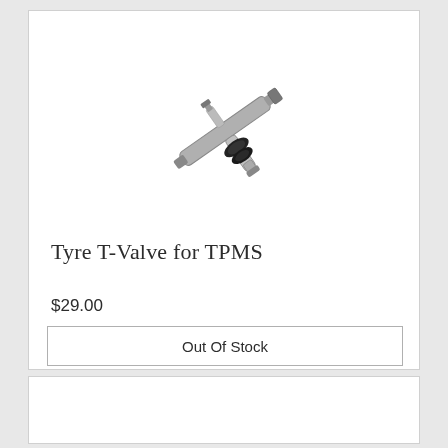[Figure (photo): A metal T-shaped tyre valve for TPMS (Tire Pressure Monitoring System), showing a chrome/silver T-valve with black rubber gasket components.]
Tyre T-Valve for TPMS
$29.00
Out Of Stock